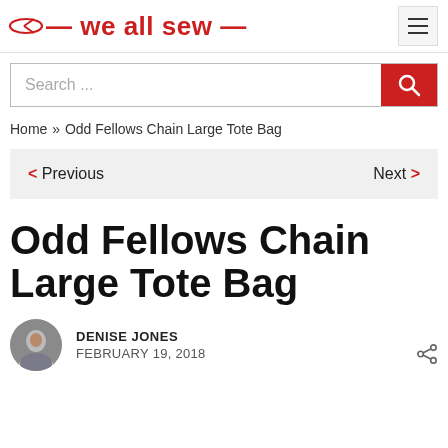we all sew
[Figure (screenshot): Search bar with red search button and magnifying glass icon]
Home » Odd Fellows Chain Large Tote Bag
< Previous   Next >
Odd Fellows Chain Large Tote Bag
DENISE JONES
FEBRUARY 19, 2018
[Figure (photo): Circular avatar photo of author Denise Jones]